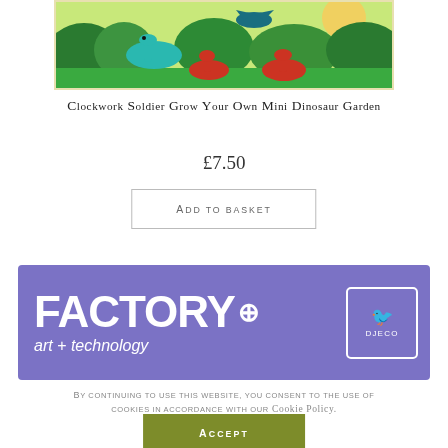[Figure (illustration): Dinosaur garden product image — colorful illustration of dinosaurs in a green prehistoric landscape on a rectangular box/card]
Clockwork Soldier Grow Your Own Mini Dinosaur Garden
£7.50
Add to basket
[Figure (illustration): Purple banner for Djeco Factory art + technology product line, with large white bold FACTORY text and Djeco logo on the right]
By continuing to use this website, you consent to the use of cookies in accordance with our Cookie Policy.
Accept